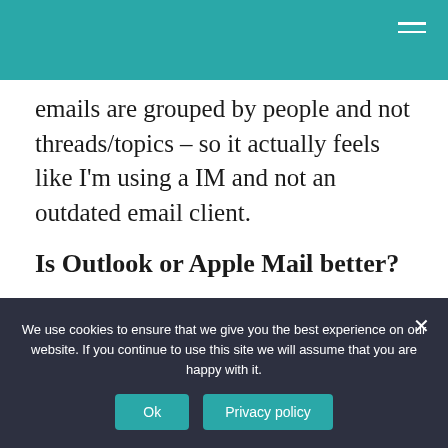emails are grouped by people and not threads/topics – so it actually feels like I'm using a IM and not an outdated email client.
Is Outlook or Apple Mail better?
Outlook has more features than Apple Mail. You can send attachments, schedule meetings, access your calendar, block spam, and find better emails. On the high-level...
We use cookies to ensure that we give you the best experience on our website. If you continue to use this site we will assume that you are happy with it.